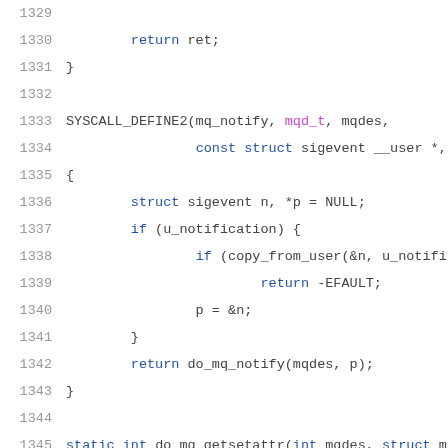Source code listing lines 1329-1350, C kernel code for mq_notify and do_mq_getsetattr functions